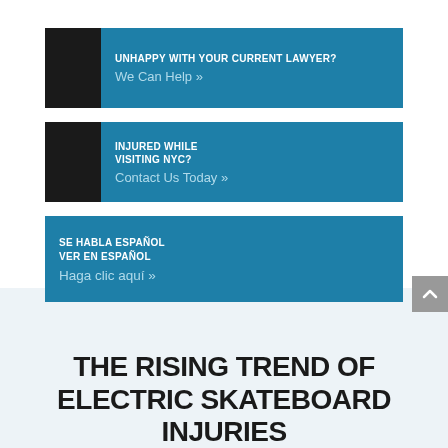[Figure (infographic): Blue banner ad: UNHAPPY WITH YOUR CURRENT LAWYER? We Can Help »]
[Figure (infographic): Blue banner ad: INJURED WHILE VISITING NYC? Contact Us Today »]
[Figure (infographic): Blue banner ad: SE HABLA ESPAÑOL / VER EN ESPAÑOL / Haga clic aquí »]
THE RISING TREND OF ELECTRIC SKATEBOARD INJURIES